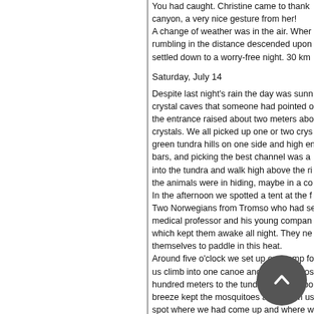You had caught. Christine came to thank canyon, a very nice gesture from her! A change of weather was in the air. When rumbling in the distance descended upon settled down to a worry-free night. 30 km
Saturday, July 14
Despite last night's rain the day was sunny. crystal caves that someone had pointed out the entrance raised about two meters above crystals. We all picked up one or two crystals. green tundra hills on one side and high enough bars, and picking the best channel was a challenge. into the tundra and walk high above the river. the animals were in hiding, maybe in a corner. In the afternoon we spotted a tent at the far side. Two Norwegians from Tromso who had set out. medical professor and his young companion, which kept them awake all night. They needed themselves to paddle in this heat. Around five o'clock we set up our camp for us climb into one canoe and paddle across hundred meters to the tundra plateau above breeze kept the mosquitoes away from us spot where we had come up and where we 37km